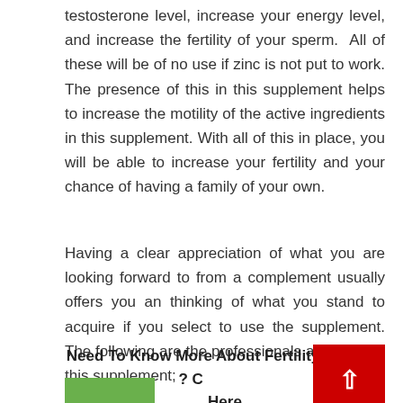testosterone level, increase your energy level, and increase the fertility of your sperm.  All of these will be of no use if zinc is not put to work. The presence of this in this supplement helps to increase the motility of the active ingredients in this supplement. With all of this in place, you will be able to increase your fertility and your chance of having a family of your own.
Having a clear appreciation of what you are looking forward to from a complement usually offers you an thinking of what you stand to acquire if you select to use the supplement. The following are the professionals and cons of this supplement;
Need To Know More About Fertility Factor 5 ? Click Here
[Figure (other): Red scroll-to-top button with white upward chevron arrow]
[Figure (other): Green bar/button at bottom of page, partially visible]